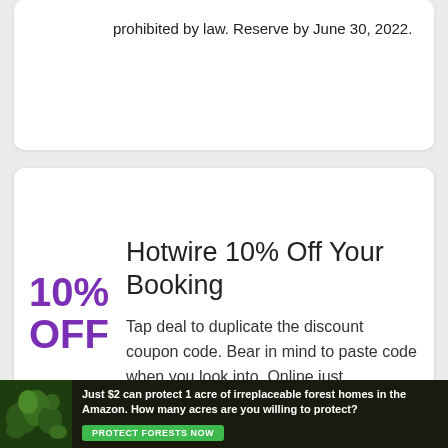prohibited by law. Reserve by June 30, 2022.
Hotwire 10% Off Your Booking
Tap deal to duplicate the discount coupon code. Bear in mind to paste code when you look into. Online just.
Hotwire Extra $21 Off When You Spend $100+
Tap supply to copy the discount
Just $2 can protect 1 acre of irreplaceable forest homes in the Amazon. How many acres are you willing to protect?